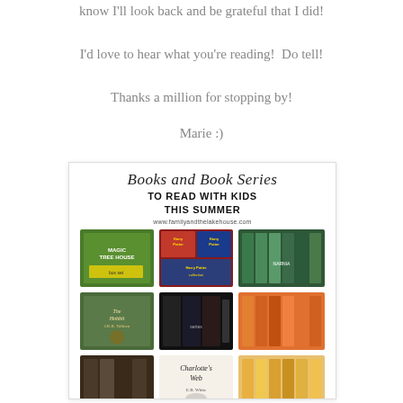know I'll look back and be grateful that I did!
I'd love to hear what you're reading!  Do tell!
Thanks a million for stopping by!
Marie :)
[Figure (infographic): A book recommendation graphic titled 'Books and Book Series TO READ WITH KIDS THIS SUMMER' from www.familyandthelakehouse.com, showing a grid of book cover images including Magic Tree House, Harry Potter, The Hobbit, Charlotte's Web and other children's book series.]